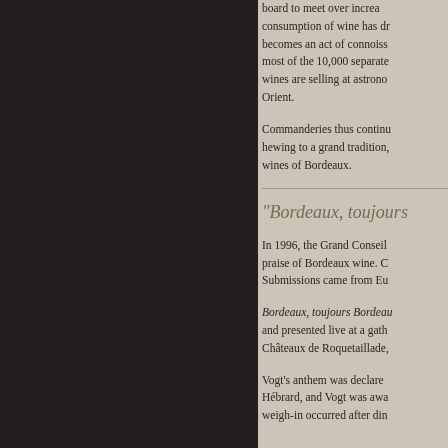board to meet over increa... consumption of wine has dr... becomes an act of connoiss... most of the 10,000 separate... wines are selling at astrono... Orient.
Commanderies thus continu... hewing to a grand tradition,... wines of Bordeaux.
"Bordeaux, toujours...
In 1996, the Grand Conseil ... praise of Bordeaux wine. C... Submissions came from Eu...
Bordeaux, toujours Bordeau... and presented live at a gath... Châteaux de Roquetaillade,...
Vogt's anthem was declare... Hébrard, and Vogt was awa... weigh-in occurred after din...